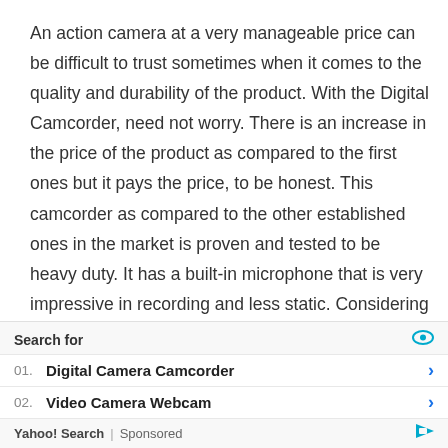An action camera at a very manageable price can be difficult to trust sometimes when it comes to the quality and durability of the product. With the Digital Camcorder, need not worry. There is an increase in the price of the product as compared to the first ones but it pays the price, to be honest. This camcorder as compared to the other established ones in the market is proven and tested to be heavy duty. It has a built-in microphone that is very impressive in recording and less static. Considering that it is one of the companions of a professional, it is beginner friendly too.

In line to this, it performs well with nightscapes too not just day-time captures. It has high definition image and video…
Search for
01. Digital Camera Camcorder
02. Video Camera Webcam
Yahoo! Search | Sponsored